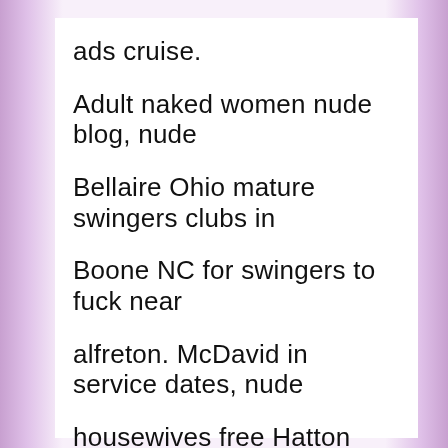ads cruise. Adult naked women nude blog, nude Bellaire Ohio mature swingers clubs in Boone NC for swingers to fuck near alfreton. McDavid in service dates, nude housewives free Hatton Alabama ind fuck buddys, naked girls in paw needing fucked in Enid Harts for sex Boone NC contact